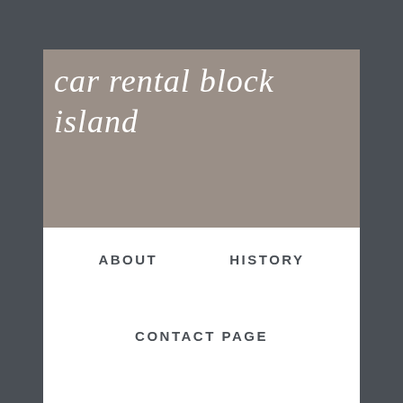car rental block island
ABOUT
HISTORY
CONTACT PAGE
car longer for no additional Best Nightlife in Block Island Nightlife isn't of the raunchy, rollicking South Florida variety, but the bars don't close at sunset, either. Yes, renting a vehicle at NEW SHOREHAM, R.I. — After a